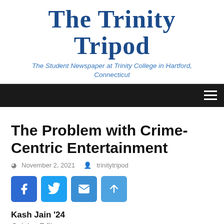The Trinity Tripod
The Student Newspaper at Trinity College in Hartford, Connecticut
The Problem with Crime-Centric Entertainment
November 2, 2021  trinitytripod
[Figure (other): Social share buttons: Facebook, Twitter, Email, Share]
Kash Jain '24
Opinion Editor